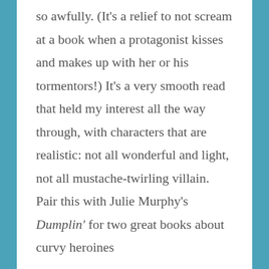so awfully. (It's a relief to not scream at a book when a protagonist kisses and makes up with her or his tormentors!) It's a very smooth read that held my interest all the way through, with characters that are realistic: not all wonderful and light, not all mustache-twirling villain. Pair this with Julie Murphy's Dumplin' for two great books about curvy heroines